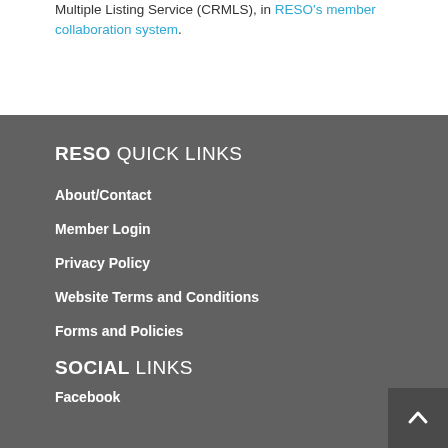Multiple Listing Service (CRMLS), in RESO's member collaboration system.
RESO QUICK LINKS
About/Contact
Member Login
Privacy Policy
Website Terms and Conditions
Forms and Policies
SOCIAL LINKS
Facebook